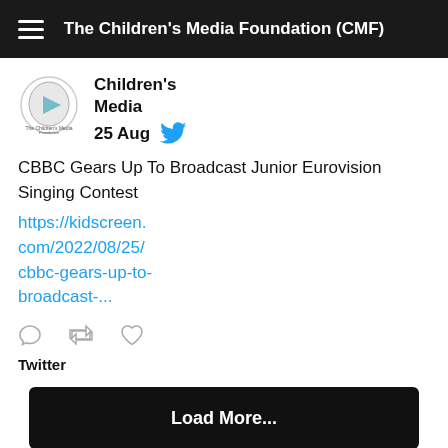The Children's Media Foundation (CMF)
[Figure (logo): The Children's Media Foundation logo — egg-shaped icon with play button]
Children's Media
25 Aug
CBBC Gears Up To Broadcast Junior Eurovision Singing Contest https://kidscreen.com/2022/08/25/cbbc-gears-up-to-broadcast-...
Twitter
Load More...